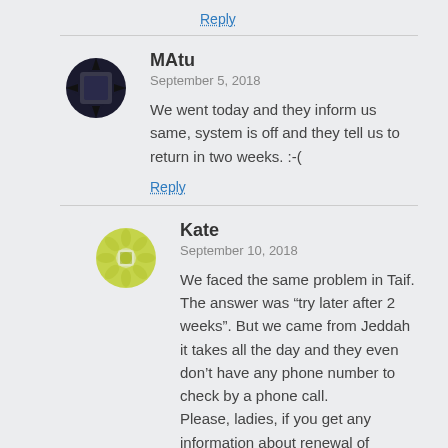Reply
MAtu
September 5, 2018
We went today and they inform us same, system is off and they tell us to return in two weeks. :-(
Reply
Kate
September 10, 2018
We faced the same problem in Taif. The answer was “try later after 2 weeks”. But we came from Jeddah it takes all the day and they even don’t have any phone number to check by a phone call.
Please, ladies, if you get any information about renewal of licenses issue share it here.